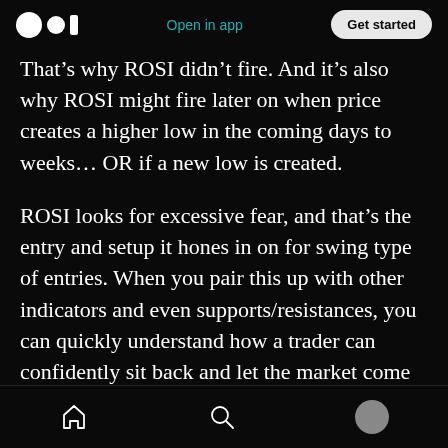Open in app | Get started
That’s why ROSI didn’t fire. And it’s also why ROSI might fire later on when price creates a higher low in the coming days to weeks… OR if a new low is created.
ROSI looks for excessive fear, and that’s the entry and setup it hones in on for swing type of entries. When you pair this up with other indicators and even supports/resistances, you can quickly understand how a trader can confidently sit back and let the market come to them.
This is the purpose ROSI serves and it’s what the
Home | Search | Profile